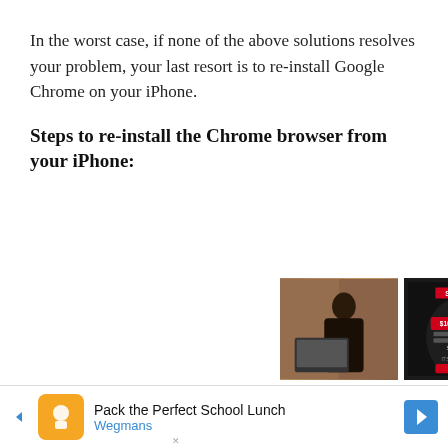In the worst case, if none of the above solutions resolves your problem, your last resort is to re-install Google Chrome on your iPhone.
Steps to re-install the Chrome browser from your iPhone:
[Figure (other): Advertisement block showing two ads side by side: left ad shows a woman on phone with laptop (Supplemental Health Care Gaming Service... from jobble.com), right ad shows SI Tickets promotion with $100 flat fee offer and Shop Now button]
[Figure (other): Bottom banner advertisement: Pack the Perfect School Lunch - Wegmans, with orange icon and blue arrow button]